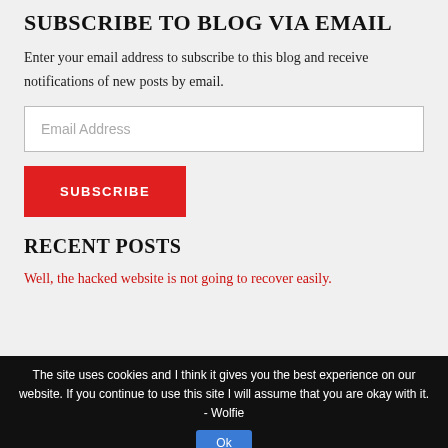SUBSCRIBE TO BLOG VIA EMAIL
Enter your email address to subscribe to this blog and receive notifications of new posts by email.
RECENT POSTS
Well, the hacked website is not going to recover easily.
The site uses cookies and I think it gives you the best experience on our website. If you continue to use this site I will assume that you are okay with it. - Wolfie Ok